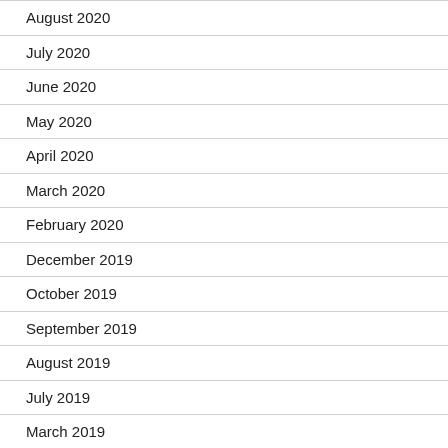August 2020
July 2020
June 2020
May 2020
April 2020
March 2020
February 2020
December 2019
October 2019
September 2019
August 2019
July 2019
March 2019